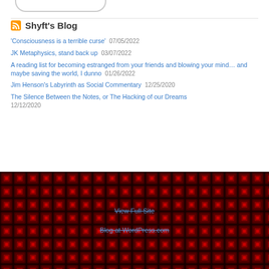[Figure (other): Partial rounded-bottom shape (UI widget bottom arc) at top of page]
Shyft's Blog
'Consciousness is a terrible curse' 07/05/2022
JK Metaphysics, stand back up 03/07/2022
A reading list for becoming estranged from your friends and blowing your mind… and maybe saving the world, I dunno 01/26/2022
Jim Henson's Labyrinth as Social Commentary 12/25/2020
The Silence Between the Notes, or The Hacking of our Dreams 12/12/2020
View Full Site
Blog at WordPress.com